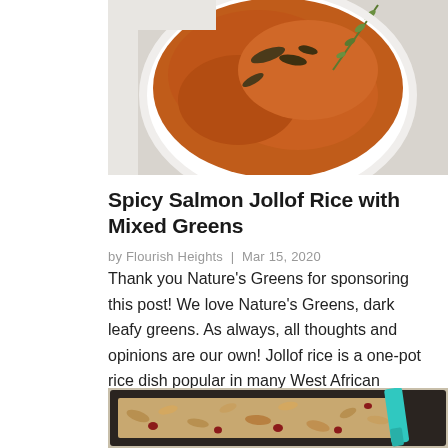[Figure (photo): Overhead shot of a white bowl filled with orange-red Jollof rice garnished with fresh thyme sprigs, on a light grey surface.]
Spicy Salmon Jollof Rice with Mixed Greens
by Flourish Heights | Mar 15, 2020
Thank you Nature’s Greens for sponsoring this post! We love Nature’s Greens, dark leafy greens. As always, all thoughts and opinions are our own! Jollof rice is a one-pot rice dish popular in many West African countries. Each country has its own take on…
[Figure (photo): A dark baking sheet with granola-like mixture of oats, dried cranberries and nuts being stirred with a teal/turquoise silicone spatula.]